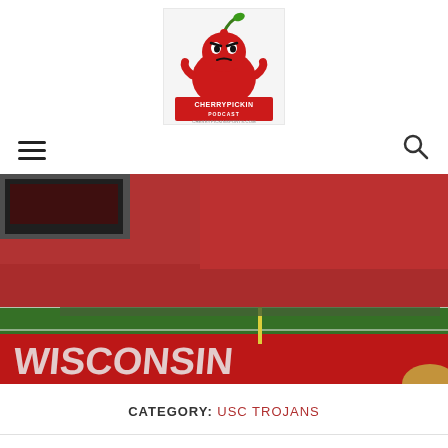[Figure (logo): CherryPickin Podcast logo – a red angry cherry mascot character, with text 'THE CHERRYPICKIN PODCAST' and 'CHERRYPICKINSPORTS.COM']
[Figure (photo): Football stadium filled with fans wearing red, end zone reads WISCONSIN, with goalposts visible on the field]
CATEGORY: USC TROJANS
2018 PAC 12 College Football